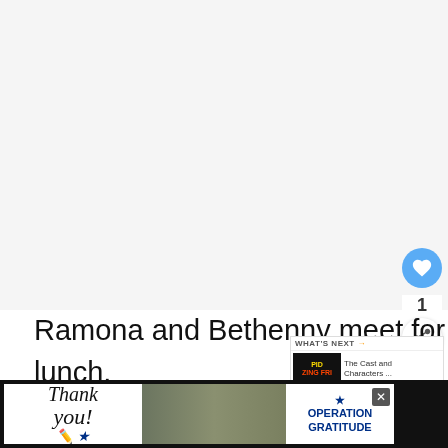[Figure (photo): Large light gray image placeholder area at the top of the page]
[Figure (screenshot): Like/heart button (blue circle with heart icon) and count of 1, plus a share button]
Ramona and Bethenny meet for lunch. Bethenny is really happy for Ramona's new clothes, new boobs and new attitude. They ca... ...back
[Figure (screenshot): WHAT'S NEXT banner with PID ZING FRI logo and text: The Cast and Characters ...]
[Figure (screenshot): Advertisement banner: Thank you with US flag star, soldiers image, and Operation Gratitude logo]